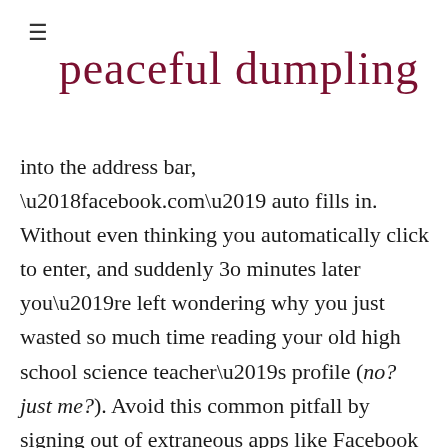peaceful dumpling
into the address bar, ‘facebook.com’ auto fills in. Without even thinking you automatically click to enter, and suddenly 30 minutes later you’re left wondering why you just wasted so much time reading your old high school science teacher’s profile (no? just me?). Avoid this common pitfall by signing out of extraneous apps like Facebook and Twitter, as well as removing the apps from your phone. You could even go a step further and clear your browser history, log out, and turn off your address bar’s auto complete feature. Although it